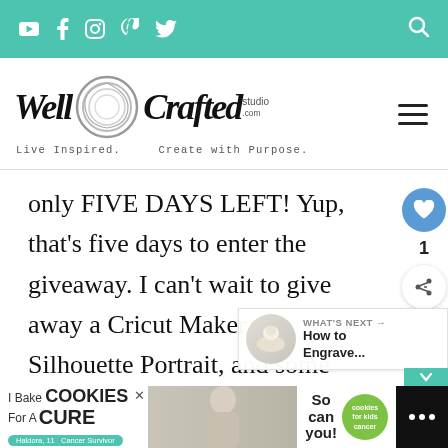Navigation bar with social icons (YouTube, Facebook, Instagram, Pinterest, Twitter) and search icon on teal background
[Figure (logo): Well Crafted Studio logo with circular graphic and tagline: Live Inspired. Create with Purpose.]
only FIVE DAYS LEFT! Yup, that's five days to enter the giveaway. I can't wait to give away a Cricut Maker, a Silhouette Portrait, and some paid products on the 25th. Have you
[Figure (infographic): WHAT'S NEXT arrow label with thumbnail image and text 'How to Engrave...']
[Figure (infographic): Advertisement banner: I Bake COOKIES For A CURE - Haldora, 11 Cancer Survivor - So can you! - cookies for kids cancer logo]